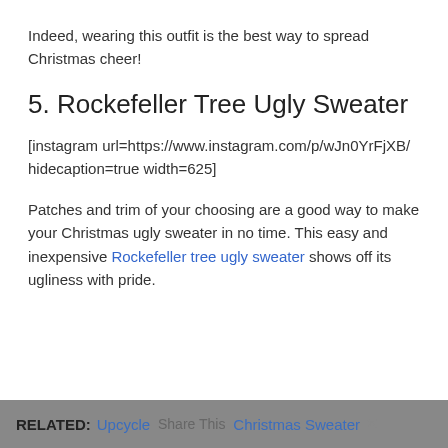Indeed, wearing this outfit is the best way to spread Christmas cheer!
5. Rockefeller Tree Ugly Sweater
[instagram url=https://www.instagram.com/p/wJn0YrFjXB/ hidecaption=true width=625]
Patches and trim of your choosing are a good way to make your Christmas ugly sweater in no time. This easy and inexpensive Rockefeller tree ugly sweater shows off its ugliness with pride.
RELATED: Upcycle Share This Christmas Sweater ×